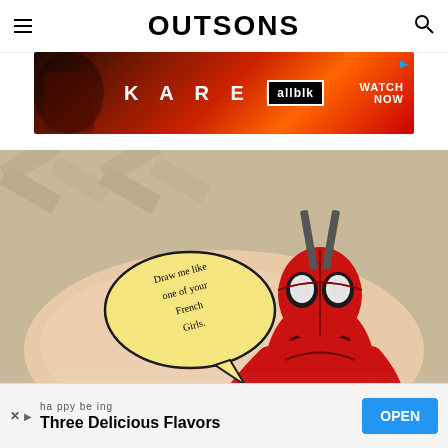OUTSONS
[Figure (screenshot): Advertisement banner for KAREN on allblk streaming service with dark red/orange background, showing WATCH NOW call to action]
[Figure (photo): Photo of a Deadpool tattoo on someone's arm. Deadpool is in his red and black suit, reclining with weapons on his back. A speech bubble reads 'Draw me like one of your French Girls.']
[Figure (screenshot): Bottom advertisement banner showing 'happy being' and 'Three Delicious Flavors' text with an OPEN button]